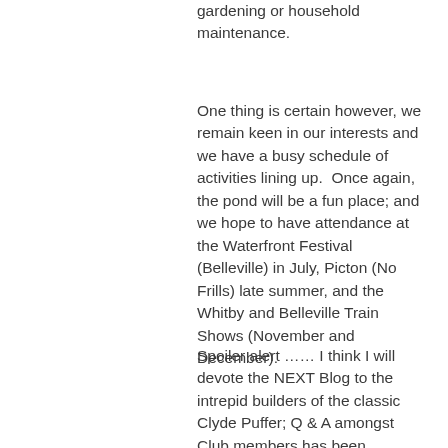gardening or household maintenance.
One thing is certain however, we remain keen in our interests and we have a busy schedule of activities lining up.  Once again, the pond will be a fun place; and we hope to have attendance at the Waterfront Festival (Belleville) in July, Picton (No Frills) late summer, and the Whitby and Belleville Train Shows (November and December).
Spoiler alert …… I think I will devote the NEXT Blog to the intrepid builders of the classic Clyde Puffer; Q & A amongst Club members has been